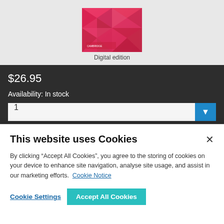[Figure (illustration): Book cover with pink/red geometric triangular pattern design and Cambridge University Press logo. Labeled 'Digital edition' below.]
Digital edition
$26.95
Availability: In stock
This website uses Cookies
By clicking “Accept All Cookies”, you agree to the storing of cookies on your device to enhance site navigation, analyse site usage, and assist in our marketing efforts.  Cookie Notice
Cookie Settings
Accept All Cookies